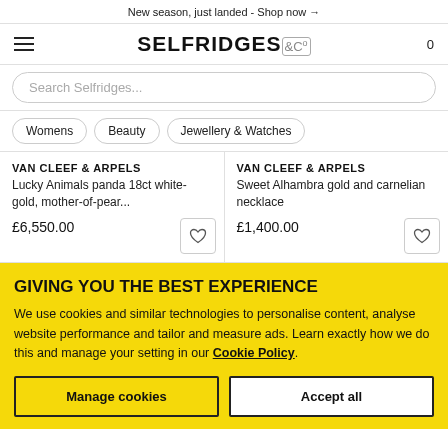New season, just landed - Shop now →
[Figure (logo): Selfridges & Co logo with hamburger menu and cart icon 0]
Search Selfridges...
Womens
Beauty
Jewellery & Watches
VAN CLEEF & ARPELS
Lucky Animals panda 18ct white-gold, mother-of-pear...
£6,550.00
VAN CLEEF & ARPELS
Sweet Alhambra gold and carnelian necklace
£1,400.00
GIVING YOU THE BEST EXPERIENCE
We use cookies and similar technologies to personalise content, analyse website performance and tailor and measure ads. Learn exactly how we do this and manage your setting in our Cookie Policy.
Manage cookies
Accept all